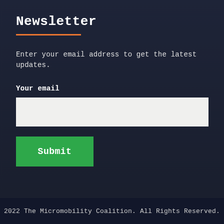Newsletter
Enter your email address to get the latest updates.
Your email
[Figure (screenshot): Empty email input text field with light gray/off-white background]
[Figure (screenshot): Green Submit button]
2022 The Micromobility Coalition. All Rights Reserved.